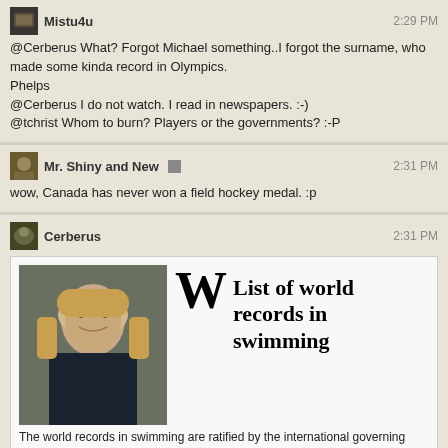Mistu4u — 2:29 PM
@Cerberus What? Forgot Michael something..I forgot the surname, who made some kinda record in Olympics.
Phelps
@Cerberus I do not watch. I read in newspapers. :-)
@tchrist Whom to burn? Players or the governments? :-P
Mr. Shiny and New — 2:31 PM
wow, Canada has never won a field hockey medal. :p
Cerberus — 2:31 PM
[Figure (screenshot): Wikipedia embed showing 'List of world records in swimming' with a photo of a blonde woman on the left, the Wikipedia W logo, the article title, and a text excerpt about FINA world records in swimming events.]
It seems the Americans are good at relay.
Mr. Shiny and New — 2:33 PM
...it is at somewhere that is right out of the middle of nowhere, for the record...